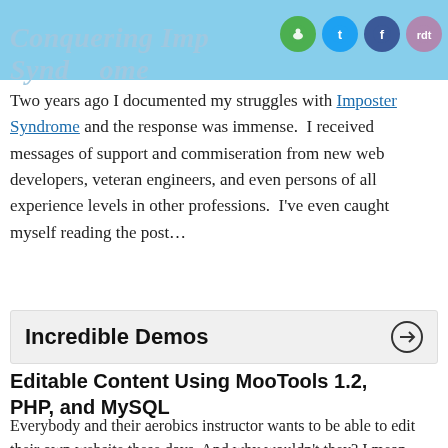Conquering Imposter Syndrome
Two years ago I documented my struggles with Imposter Syndrome and the response was immense. I received messages of support and commiseration from new web developers, veteran engineers, and even persons of all experience levels in other professions. I've even caught myself reading the post...
Incredible Demos
Editable Content Using MooTools 1.2, PHP, and MySQL
Everybody and their aerobics instructor wants to be able to edit their own website these days. And why wouldn't they? I mean, they have a $500 budget, no HTML/CSS experience, and extraordinary